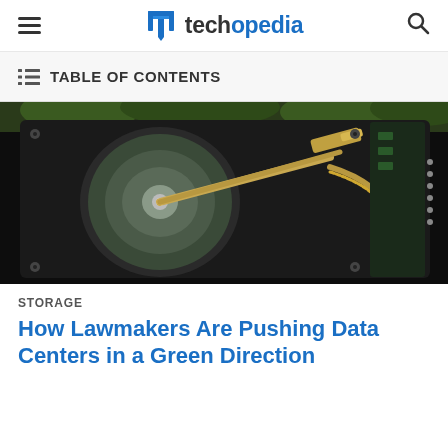techopedia — navigation bar with hamburger menu and search icon
[Figure (photo): Close-up photograph of an open hard disk drive (HDD) showing the read/write arm, platters, and internal components against a dark background with green foliage visible at top]
TABLE OF CONTENTS
STORAGE
How Lawmakers Are Pushing Data Centers in a Green Direction